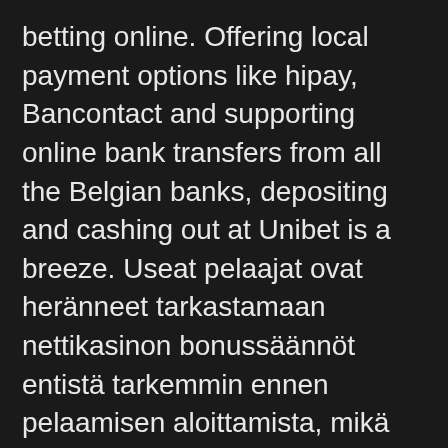betting online. Offering local payment options like hipay, Bancontact and supporting online bank transfers from all the Belgian banks, depositing and cashing out at Unibet is a breeze. Useat pelaajat ovat heränneet tarkastamaan nettikasinon bonussäännöt entistä tarkemmin ennen pelaamisen aloittamista, mikä onkin erittäin fiksua. You can also then claim a different deposit bonus every day at All Star Slots Casino and you can earn redeemable loyalty points when you play on any of your favorite games in the real money mode. Play the live roulette how to play roulette shots game and win the bonus amount whenever your ball hits an eight during the game.
In most provinces the legal age for gambling is 18, yet you will find some places where you must be 19 years of